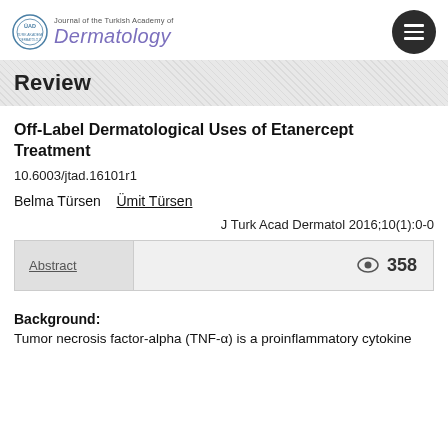[Figure (logo): Journal of the Turkish Academy of Dermatology logo with circular emblem and stylized text]
Review
Off-Label Dermatological Uses of Etanercept Treatment
10.6003/jtad.16101r1
Belma Türsen   Ümit Türsen
J Turk Acad Dermatol 2016;10(1):0-0
| Abstract | Views |
| --- | --- |
| Abstract | 358 |
Background:
Tumor necrosis factor-alpha (TNF-α) is a proinflammatory cytokine